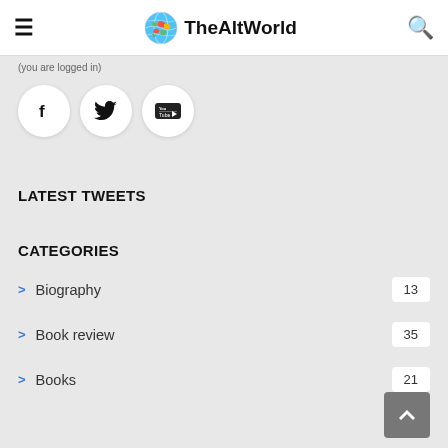TheAltWorld
(partial navigation text)
[Figure (other): Social media icon buttons: Facebook, Twitter, YouTube in white circles]
LATEST TWEETS
CATEGORIES
Biography 13
Book review 35
Books 21